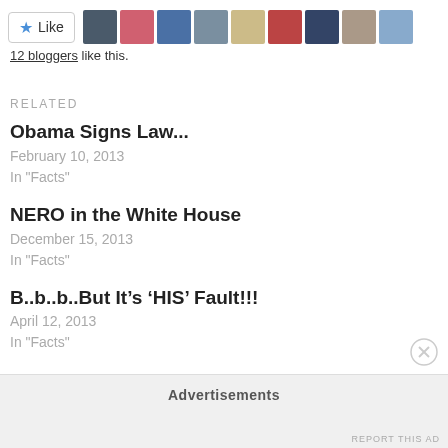[Figure (screenshot): Like button with star icon and a row of blogger avatar thumbnails]
12 bloggers like this.
RELATED
Obama Signs Law...
February 10, 2013
In "Facts"
NERO in the White House
December 15, 2013
In "Facts"
B..b..b..But It's ‘HIS’ Fault!!!
April 12, 2013
In "Facts"
Advertisements